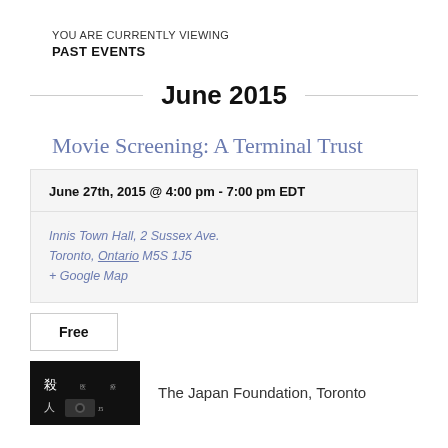YOU ARE CURRENTLY VIEWING
PAST EVENTS
June 2015
Movie Screening: A Terminal Trust
June 27th, 2015 @ 4:00 pm - 7:00 pm EDT
Innis Town Hall, 2 Sussex Ave.
Toronto, Ontario M5S 1J5
+ Google Map
Free
The Japan Foundation, Toronto